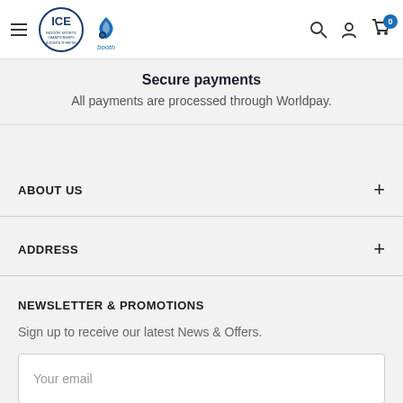[Figure (logo): ICE and Booth logo with hamburger menu on left, search, account, and cart icons on right]
Secure payments
All payments are processed through Worldpay.
ABOUT US
ADDRESS
NEWSLETTER & PROMOTIONS
Sign up to receive our latest News & Offers.
Your email